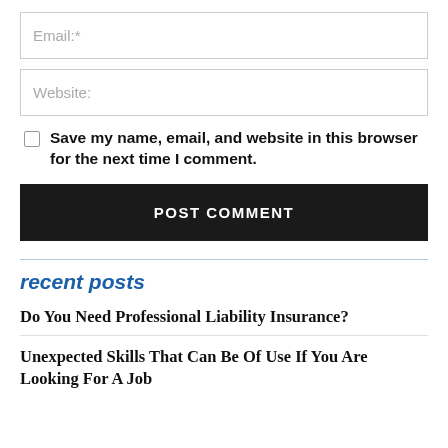Email:*
Website:
Save my name, email, and website in this browser for the next time I comment.
POST COMMENT
recent posts
Do You Need Professional Liability Insurance?
Unexpected Skills That Can Be Of Use If You Are Looking For A Job